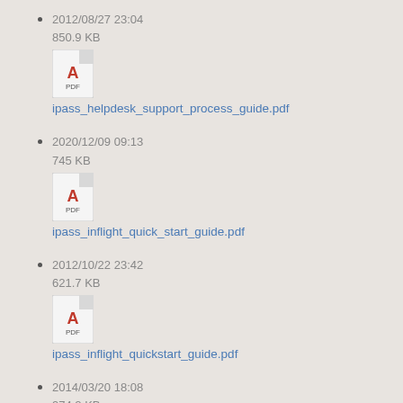2012/08/27 23:04
850.9 KB
ipass_helpdesk_support_process_guide.pdf
2020/12/09 09:13
745 KB
ipass_inflight_quick_start_guide.pdf
2012/10/22 23:42
621.7 KB
ipass_inflight_quickstart_guide.pdf
2014/03/20 18:08
974.2 KB